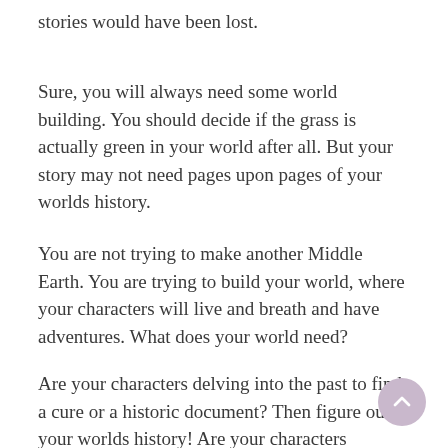stories would have been lost.
Sure, you will always need some world building. You should decide if the grass is actually green in your world after all. But your story may not need pages upon pages of your worlds history.
You are not trying to make another Middle Earth. You are trying to build your world, where your characters will live and breath and have adventures. What does your world need?
Are your characters delving into the past to find a cure or a historic document? Then figure out your worlds history! Are your characters running for their lives in the mountains? Then